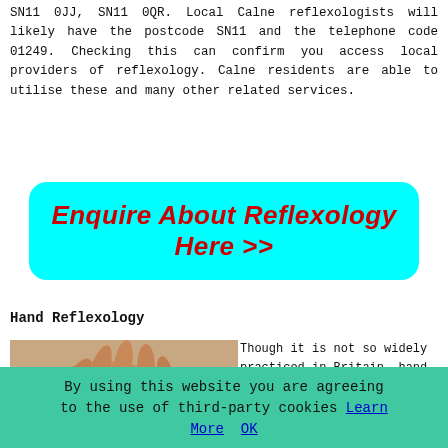SN11 0JJ, SN11 0QR. Local Calne reflexologists will likely have the postcode SN11 and the telephone code 01249. Checking this can confirm you access local providers of reflexology. Calne residents are able to utilise these and many other related services.
[Figure (infographic): Cyan button with bold red italic text: Enquire About Reflexology Here >>]
Hand Reflexology
[Figure (photo): Close-up photo of hands performing hand reflexology massage on a person's hand resting on a white towel.]
Though it is not so widely practiced in Britain, hand reflexology is just as valuable as traditional foot
By using this website you are agreeing to the use of third-party cookies Learn More OK